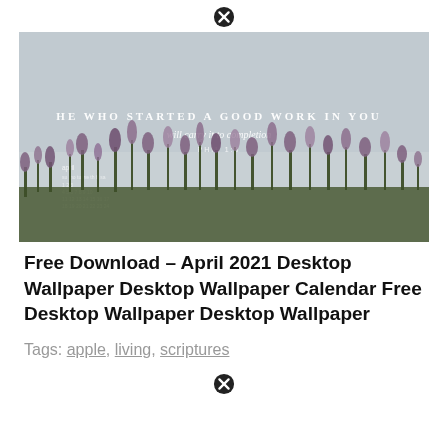[Figure (photo): Desktop wallpaper with lavender/heather flowers in the foreground against a pale grey-blue sky. White text overlay reads: 'HE WHO STARTED A GOOD WORK IN YOU will carry it to completion PHIL 1:6' with a small calendar for April in the lower left.]
Free Download – April 2021 Desktop Wallpaper Desktop Wallpaper Calendar Free Desktop Wallpaper Desktop Wallpaper
Tags: apple, living, scriptures